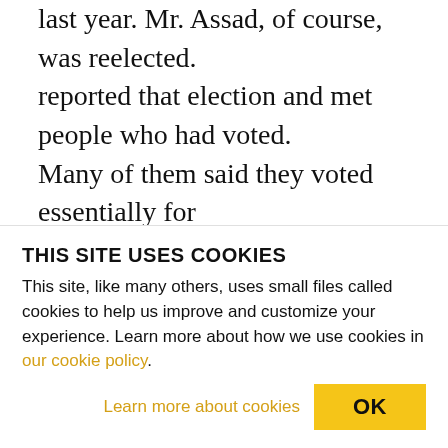last year. Mr. Assad, of course, was reelected. reported that election and met people who had voted. Many of them said they voted essentially for stability. They didn't vote for any political party. Really it was Mr. Assad or nobody. But they voted for stability. They wanted the war to end. That was in the context already when almost half the Syrian population had been displaced. You cannot run a credible election in that context. Now over half the Syrian population is displaced, it would be impossible to run any kind of election. I think the language of election is being used to signal the
THIS SITE USES COOKIES
This site, like many others, uses small files called cookies to help us improve and customize your experience. Learn more about how we use cookies in our cookie policy.
Learn more about cookies   OK